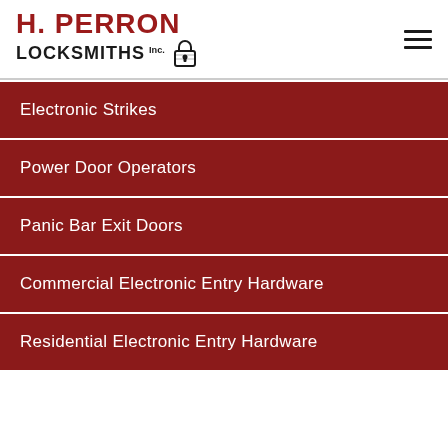[Figure (logo): H. Perron Locksmiths Inc. logo with red text and padlock icon]
Electronic Strikes
Power Door Operators
Panic Bar Exit Doors
Commercial Electronic Entry Hardware
Residential Electronic Electronic Entry Hardware